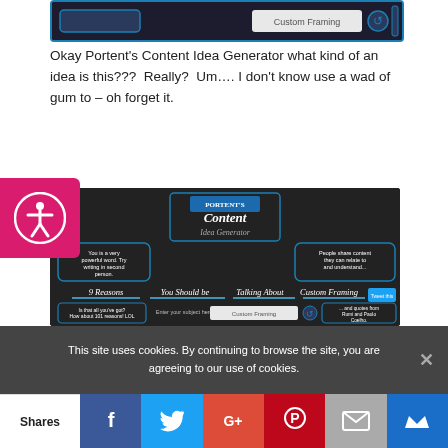[Figure (screenshot): Top partial screenshot of a dark-themed website interface]
Okay Portent’s Content Idea Generator what kind of an idea is this???  Really?  Um…. I don’t know use a wad of gum to – oh forget it.
[Figure (screenshot): Screenshot of Portent's Content Idea Generator tool showing a dark chalkboard-style interface with the title 'Content Idea Generator', input field with 'Custom Framing', and generated title '9 Reasons You Should be Talking About Custom Framing']
This site uses cookies. By continuing to browse the site, you are agreeing to our use of cookies.
Shares